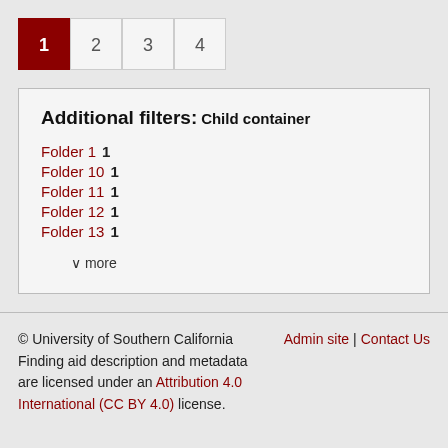1 2 3 4
Additional filters:
Child container
Folder 1  1
Folder 10  1
Folder 11  1
Folder 12  1
Folder 13  1
∨ more
© University of Southern California Finding aid description and metadata are licensed under an Attribution 4.0 International (CC BY 4.0) license. Admin site | Contact Us